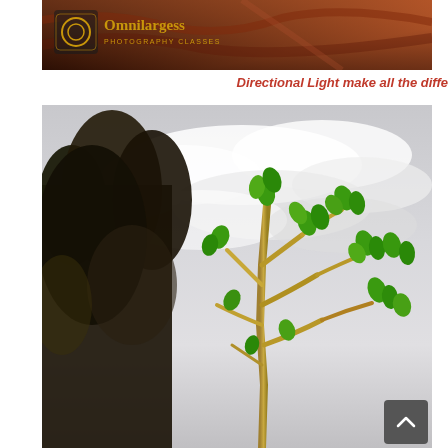[Figure (photo): Top banner photo showing deep orange/red tones with the Omnilargess Photography Classes logo overlaid in the upper left. Dark warm-toned canyon or rock texture background.]
Directional Light make all the diffe
[Figure (photo): Large photograph of trees and plants against a dramatic cloudy sky. On the left are dark leafy trees; in the center-right is a golden-stemmed plant with bright green leaves reaching upward. Sky is grey-white with clouds. A dark grey scroll-to-top button with an upward arrow is overlaid in the bottom-right corner.]